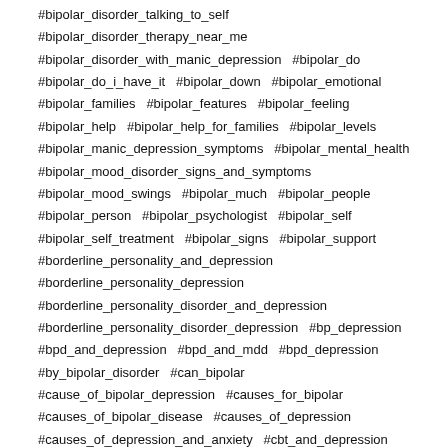#bipolar_disorder_talking_to_self
#bipolar_disorder_therapy_near_me
#bipolar_disorder_with_manic_depression  #bipolar_do
#bipolar_do_i_have_it  #bipolar_down  #bipolar_emotional
#bipolar_families  #bipolar_features  #bipolar_feeling
#bipolar_help  #bipolar_help_for_families  #bipolar_levels
#bipolar_manic_depression_symptoms  #bipolar_mental_health
#bipolar_mood_disorder_signs_and_symptoms
#bipolar_mood_swings  #bipolar_much  #bipolar_people
#bipolar_person  #bipolar_psychologist  #bipolar_self
#bipolar_self_treatment  #bipolar_signs  #bipolar_support
#borderline_personality_and_depression
#borderline_personality_depression
#borderline_personality_disorder_and_depression
#borderline_personality_disorder_depression  #bp_depression
#bpd_and_depression  #bpd_and_mdd  #bpd_depression
#by_bipolar_disorder  #can_bipolar
#cause_of_bipolar_depression  #causes_for_bipolar
#causes_of_bipolar_disease  #causes_of_depression
#causes_of_depression_and_anxiety  #cbt_and_depression
#cbt_as_a_treatment_for_depression  #cbt_for_depression
#cbt_for_depression_and_anxiety
#cbt_therapy_for_anxiety_and_depression